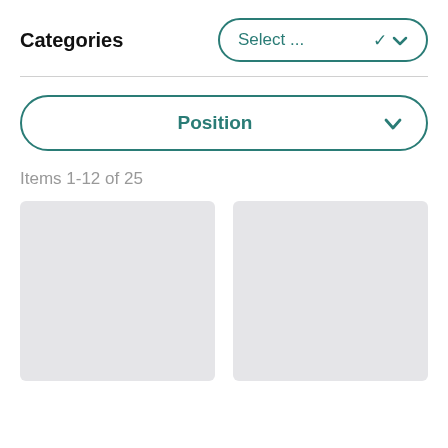Categories
Select ...
Position
Items 1-12 of 25
[Figure (screenshot): Two gray placeholder card boxes side by side]